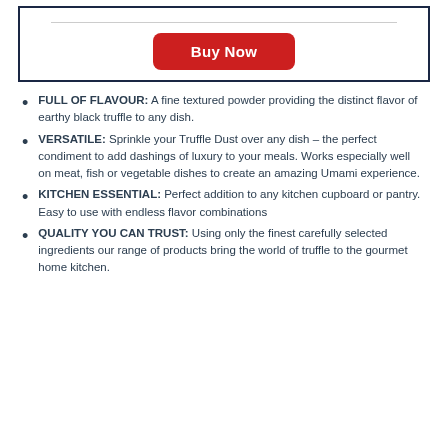[Figure (other): A bordered box UI element with a horizontal divider line and a red 'Buy Now' button centered inside]
FULL OF FLAVOUR: A fine textured powder providing the distinct flavor of earthy black truffle to any dish.
VERSATILE: Sprinkle your Truffle Dust over any dish – the perfect condiment to add dashings of luxury to your meals. Works especially well on meat, fish or vegetable dishes to create an amazing Umami experience.
KITCHEN ESSENTIAL: Perfect addition to any kitchen cupboard or pantry. Easy to use with endless flavor combinations
QUALITY YOU CAN TRUST: Using only the finest carefully selected ingredients our range of products bring the world of truffle to the gourmet home kitchen.